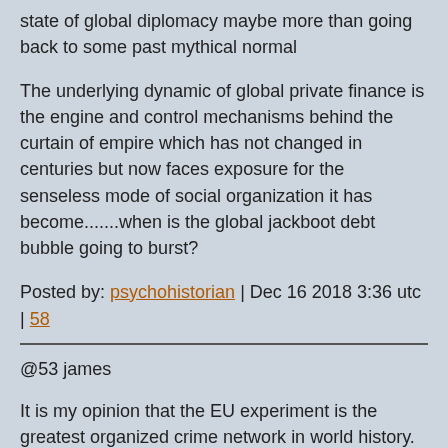state of global diplomacy maybe more than going back to some past mythical normal
The underlying dynamic of global private finance is the engine and control mechanisms behind the curtain of empire which has not changed in centuries but now faces exposure for the senseless mode of social organization it has become.......when is the global jackboot debt bubble going to burst?
Posted by: psychohistorian | Dec 16 2018 3:36 utc | 58
@53 james
It is my opinion that the EU experiment is the greatest organized crime network in world history.
In the US, you still have a semblance of accountability. Shenanigans are often caught, with the (great) exception of the MIC and Pentagon Budget which makes it easy to see the funneling of free money to whoever is at the end of the conveyor.
The EU, OTOH, is one big front for the exchange, laundering, and concealing of wealth accumulation. The EU is the table at which the true power brokers are able to pull the strings through their lobbyists and reach D.C. and its elected pool teeming with morons. To an extent, it is difficult